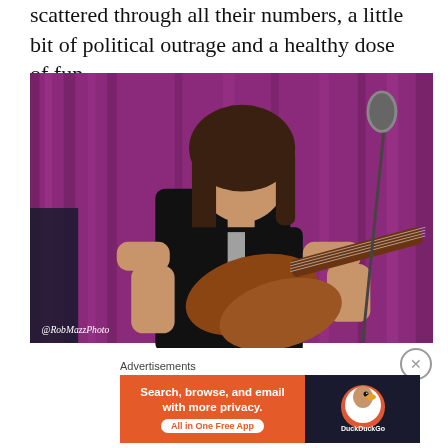scattered through all their numbers, a little bit of political outrage and a healthy dose of fun.
[Figure (photo): A person with shoulder-length dark hair playing a bass guitar on stage, wearing a black t-shirt, looking upward. Behind them are purple draped curtains and a microphone stand. A photo credit reads '@RobMazzPhoto' in the bottom left corner.]
Advertisements
[Figure (screenshot): DuckDuckGo advertisement banner: orange left panel reading 'Search, browse, and email with more privacy. All in One Free App' and dark right panel with DuckDuckGo logo and duck icon.]